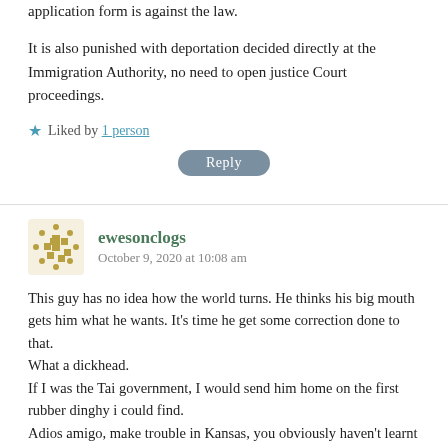application form is against the law.
It is also punished with deportation decided directly at the Immigration Authority, no need to open justice Court proceedings.
★ Liked by 1 person
Reply
ewesonclogs
October 9, 2020 at 10:08 am
This guy has no idea how the world turns. He thinks his big mouth gets him what he wants. It's time he get some correction done to that.
What a dickhead.
If I was the Tai government, I would send him home on the first rubber dinghy i could find.
Adios amigo, make trouble in Kansas, you obviously haven't learnt anything there.
★ Like